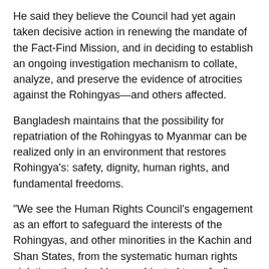He said they believe the Council had yet again taken decisive action in renewing the mandate of the Fact-Find Mission, and in deciding to establish an ongoing investigation mechanism to collate, analyze, and preserve the evidence of atrocities against the Rohingyas—and others affected.
Bangladesh maintains that the possibility for repatriation of the Rohingyas to Myanmar can be realized only in an environment that restores Rohingya's: safety, dignity, human rights, and fundamental freedoms.
"We see the Human Rights Council's engagement as an effort to safeguard the interests of the Rohingyas, and other minorities in the Kachin and Shan States, from the systematic human rights violations they had been subjected to so far," Ambassador Momen said.
He said the outright rejection of the Council's overtures to Myanmar can be construed by those affected as continued denial by the concerned State of their human rights and fundamental freedoms, including a pathway